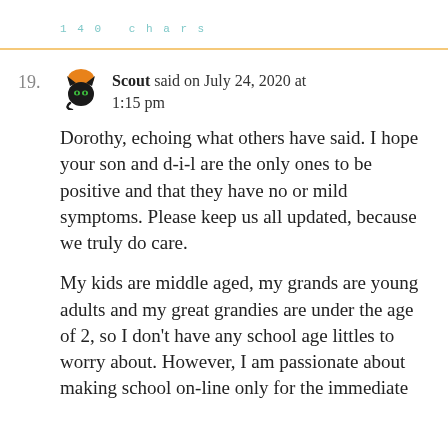140 chars
19. Scout said on July 24, 2020 at 1:15 pm
Dorothy, echoing what others have said. I hope your son and d-i-l are the only ones to be positive and that they have no or mild symptoms. Please keep us all updated, because we truly do care.
My kids are middle aged, my grands are young adults and my great grandies are under the age of 2, so I don't have any school age littles to worry about. However, I am passionate about making school on-line only for the immediate...